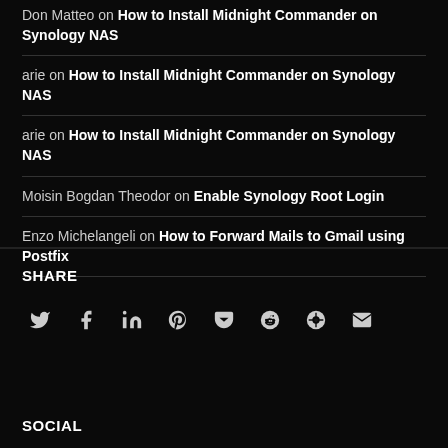Don Matteo on How to Install Midnight Commander on Synology NAS
arie on How to Install Midnight Commander on Synology NAS
arie on How to Install Midnight Commander on Synology NAS
Moisin Bogdan Theodor on Enable Synology Root Login
Enzo Michelangeli on How to Forward Mails to Gmail using Postfix
SHARE
[Figure (infographic): Social share icons: Twitter, Facebook, LinkedIn, Pinterest, Pocket, Reddit, unknown, Email]
SOCIAL